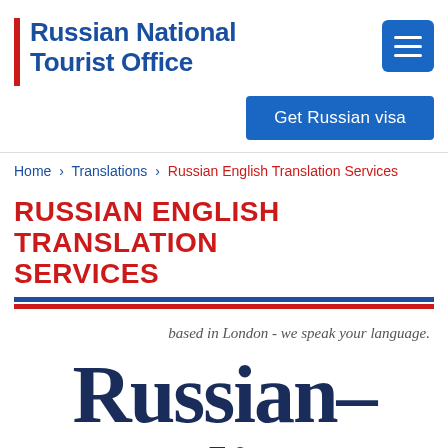Russian National Tourist Office
Get Russian visa
Home > Translations > Russian English Translation Services
RUSSIAN ENGLISH TRANSLATION SERVICES
based in London - we speak your language.
[Figure (illustration): Large decorative serif text reading 'Russian-English' in dark navy color, partially cropped at bottom of page]